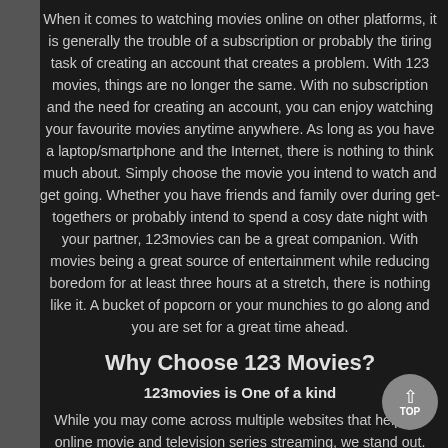When it comes to watching movies online on other platforms, it is generally the trouble of a subscription or probably the tiring task of creating an account that creates a problem. With 123 movies, things are no longer the same. With no subscription and the need for creating an account, you can enjoy watching your favourite movies anytime anywhere. As long as you have a laptop/smartphone and the Internet, there is nothing to think much about. Simply choose the movie you intend to watch and get going. Whether you have friends and family over during get-togethers or probably intend to spend a cosy date night with your partner, 123movies can be a great companion. With movies being a great source of entertainment while reducing boredom for at least three hours at a stretch, there is nothing like it. A bucket of popcorn or your munchies to go along and you are set for a great time ahead.
Why Choose 123 Movies?
123movies is One of a kind
While you may come across multiple websites that help out online movie and television series streaming, we stand out. With us, you do not have to get yourself a subscription or probably create